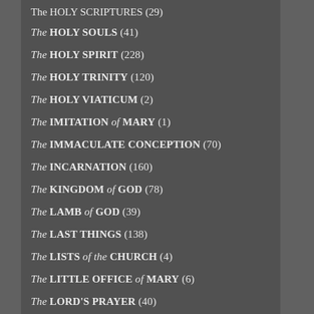The HOLY SCRIPTURES (29)
The HOLY SOULS (41)
The HOLY SPIRIT (228)
The HOLY TRINITY (120)
The HOLY VIATICUM (2)
The IMITATION of MARY (1)
The IMMACULATE CONCEPTION (70)
The INCARNATION (160)
The KINGDOM of GOD (78)
The LAMB of GOD (39)
The LAST THINGS (138)
The LISTS of the CHURCH (4)
The LITTLE OFFICE of MARY (6)
The LORD'S PRAYER (40)